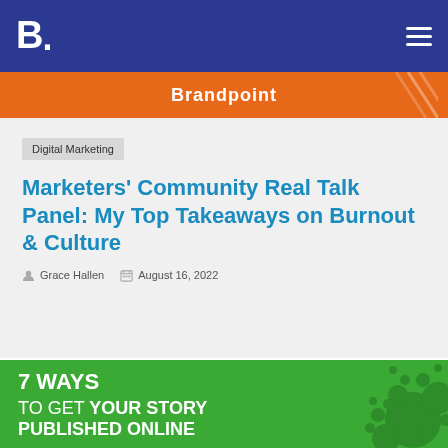B. [logo] — navigation header
[Figure (logo): Orange Brandpoint banner with brand name and diagonal stripe decoration]
Digital Marketing
Marketers' Community Real Talk Panel: My Top Takeaways on Burnout & Culture
Grace Hallen  August 16, 2022
[Figure (infographic): Green promotional banner reading '7 WAYS TO GET YOUR STORY PUBLISHED ONLINE' with decorative bubble circles on the right]